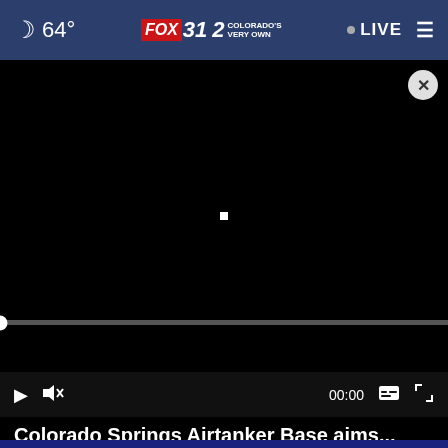64° FOX 31 2 COLORADO'S VERY OWN  LIVE ≡
[Figure (screenshot): Black video player area with a small white square in the center and a close (X) button in the top-right corner]
[Figure (screenshot): Video player controls bar: play button, mute button, 00:00 timestamp, captions button, fullscreen button]
Colorado Springs Airtanker Base aims...
[Figure (screenshot): Advertisement banner at bottom: red SALE label and text BUY MORE – SAVE MORE! on dark background with star decoration]